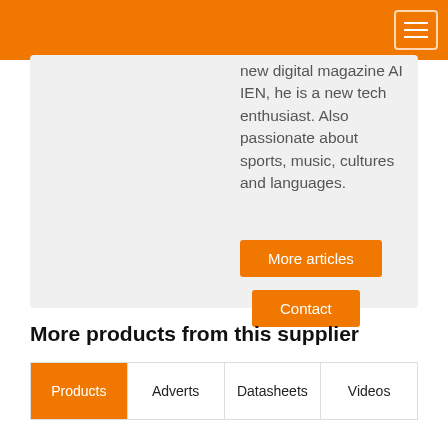new digital magazine AI IEN, he is a new tech enthusiast. Also passionate about sports, music, cultures and languages.
More articles
Contact
More products from this supplier
| Products | Adverts | Datasheets | Videos |
| --- | --- | --- | --- |